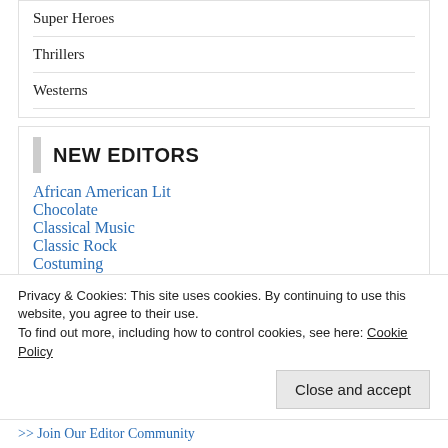Super Heroes
Thrillers
Westerns
NEW EDITORS
African American Lit
Chocolate
Classical Music
Classic Rock
Costuming
Privacy & Cookies: This site uses cookies. By continuing to use this website, you agree to their use.
To find out more, including how to control cookies, see here: Cookie Policy
Close and accept
>> Join Our Editor Community